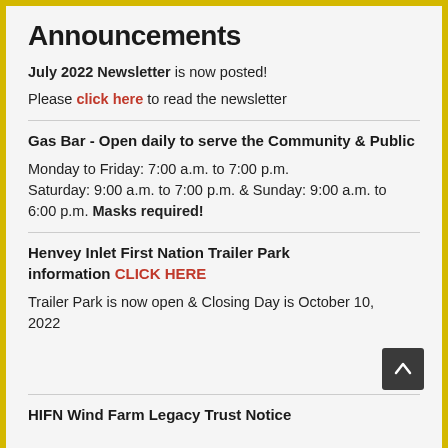Announcements
July 2022 Newsletter is now posted!
Please click here to read the newsletter
Gas Bar - Open daily to serve the Community & Public
Monday to Friday: 7:00 a.m. to 7:00 p.m. Saturday: 9:00 a.m. to 7:00 p.m. & Sunday: 9:00 a.m. to 6:00 p.m. Masks required!
Henvey Inlet First Nation Trailer Park information CLICK HERE
Trailer Park is now open & Closing Day is October 10, 2022
HIFN Wind Farm Legacy Trust Notice